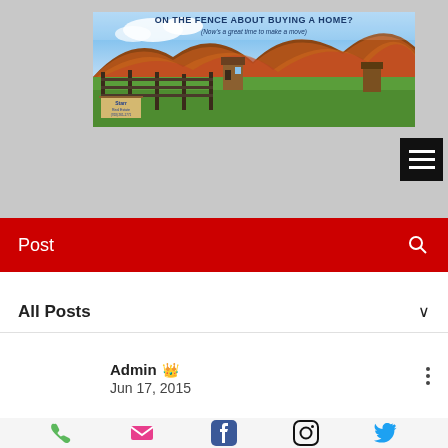[Figure (screenshot): Banner image for real estate website showing rural landscape with fence, fall foliage mountains, and text 'ON THE FENCE ABOUT BUYING A HOME? (Now's a great time to make a move)' with Starr Real Estate sign]
[Figure (screenshot): Black hamburger menu icon (three horizontal lines on black square background)]
Post
All Posts
Admin  Jun 17, 2015
[Figure (screenshot): Social media icons footer bar: phone (green), email (pink/red), Facebook (blue), Instagram (black), Twitter (blue)]